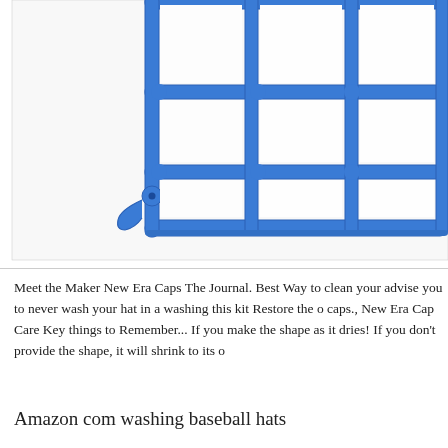[Figure (photo): Close-up photo of a blue plastic baseball cap washing frame/cage with a grid structure, photographed against a white background. The blue plastic grid has vertical and horizontal bars forming rectangular sections, with rounded corners at the bottom.]
Meet the Maker New Era Caps The Journal. Best Way to clean your advise you to never wash your hat in a washing this kit Restore the o caps., New Era Cap Care Key things to Remember... If you make the shape as it dries! If you don't provide the shape, it will shrink to its o
Amazon com washing baseball hats